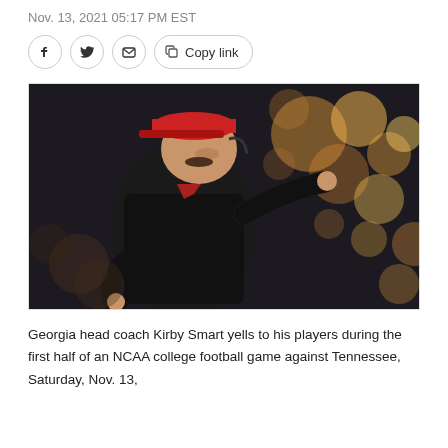Nov. 13, 2021 05:17 PM EST
[Figure (other): Social sharing buttons: Facebook, Twitter, Email, Copy link]
[Figure (photo): Georgia head coach Kirby Smart wearing a red visor and black jacket, pointing and yelling at players on the sideline during a college football game. Bokeh background of crowd in orange and gold tones.]
Georgia head coach Kirby Smart yells to his players during the first half of an NCAA college football game against Tennessee, Saturday, Nov. 13,